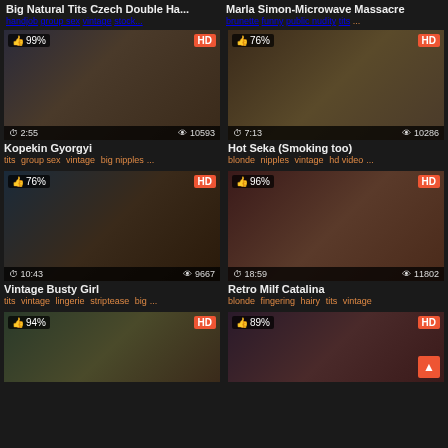Big Natural Tits Czech Double Ha...
handjob group sex vintage stock...
Marla Simon-Microwave Massacre
brunette funny public nudity tits ...
[Figure (screenshot): Video thumbnail - Kopekin Gyorgyi, 2:55 duration, 10593 views, 99% rating, HD]
Kopekin Gyorgyi
tits group sex vintage big nipples...
[Figure (screenshot): Video thumbnail - Hot Seka (Smoking too), 7:13 duration, 10286 views, 76% rating, HD]
Hot Seka (Smoking too)
blonde nipples vintage hd video...
[Figure (screenshot): Video thumbnail - Vintage Busty Girl, 10:43 duration, 9667 views, 76% rating, HD]
Vintage Busty Girl
tits vintage lingerie striptease big...
[Figure (screenshot): Video thumbnail - Retro Milf Catalina, 18:59 duration, 11802 views, 96% rating, HD]
Retro Milf Catalina
blonde fingering hairy tits vintage
[Figure (screenshot): Video thumbnail - partial, 94% rating, HD]
[Figure (screenshot): Video thumbnail - partial, 89% rating, HD]